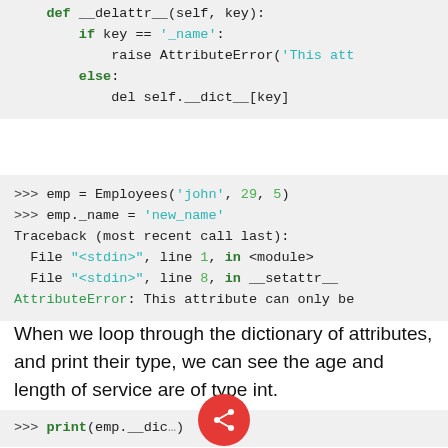[Figure (screenshot): Code block showing Python __delattr__ method with if/else and del statement]
[Figure (screenshot): Python interactive session showing Employees instantiation, _name assignment raising AttributeError with traceback]
When we loop through the dictionary of attributes, and print their type, we can see the age and length of service are of type int.
[Figure (screenshot): Python interactive session showing print(emp.__dict__) call, partially visible]